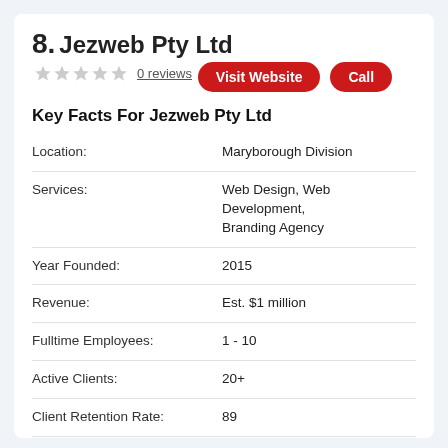8. Jezweb Pty Ltd
0 reviews
Visit Website | Call
Key Facts For Jezweb Pty Ltd
|  |  |
| --- | --- |
| Location: | Maryborough Division |
| Services: | Web Design, Web Development, Branding Agency |
| Year Founded: | 2015 |
| Revenue: | Est. $1 million |
| Fulltime Employees: | 1 - 10 |
| Active Clients: | 20+ |
| Client Retention Rate: | 89 |
| Pricing: | L |